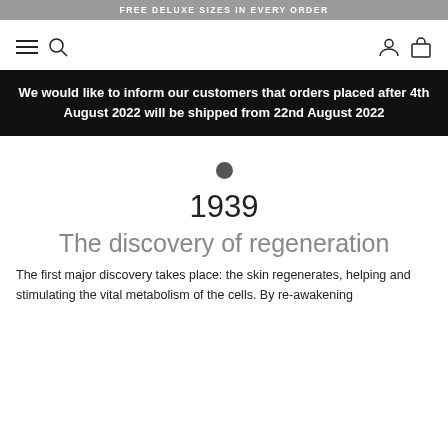FREE DELUXE SIZES IN EVERY ORDER
[Figure (other): Navigation bar with hamburger menu, search icon, user account icon, and shopping bag icon]
We would like to inform our customers that orders placed after 4th August 2022 will be shipped from 22nd August 2022
1939
The discovery of regeneration
The first major discovery takes place: the skin regenerates, helping and stimulating the vital metabolism of the cells. By re-awakening